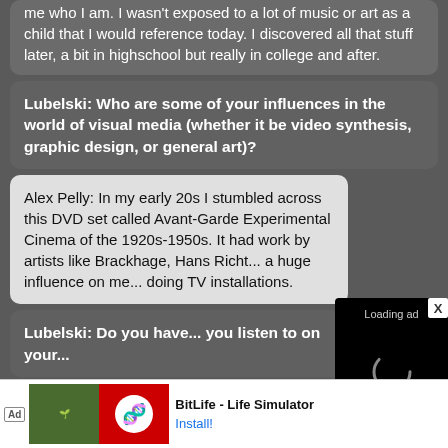me who I am. I wasn't exposed to a lot of music or art as a child that I would reference today. I discovered all that stuff later, a bit in highschool but really in college and after.
Lubelski: Who are some of your influences in the world of visual media (whether it be video synthesis, graphic design, or general art)?
Alex Pelly: In my early 20s I stumbled across this DVD set called Avant-Garde Experimental Cinema of the 1920s-1950s. It had work by artists like Brackhage, Hans Richt... a huge influence on me... doing TV installations.
Lubelski: Do you have... you listen to on your...
Alex Pelly: Oof I'm really bad at favorites and I listen to a lot of
[Figure (screenshot): Video player overlay showing 'Loading ad' text with a spinning loading indicator and playback controls (pause, fullscreen, mute) on a black background]
[Figure (screenshot): Bottom advertisement bar showing 'Ad' badge, BitLife app icon images, 'BitLife - Life Simulator' title text, and 'Install!' button]